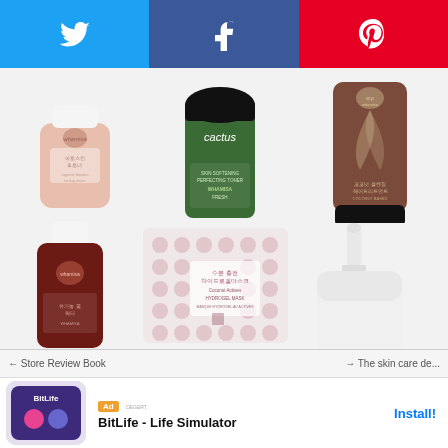[Figure (screenshot): Social media sharing bar with Twitter (blue), Facebook (dark blue), and Pinterest (red) buttons with icons]
[Figure (photo): Grid of Korean skincare/beauty products: top row shows a pink toner bottle, a green cactus toner, and a brown tube cleanser. Bottom row shows a dark red bottle, a hydrogel mask packet, and a white pump bottle.]
[Figure (screenshot): Advertisement banner: BitLife - Life Simulator mobile game ad with Install button and close X button]